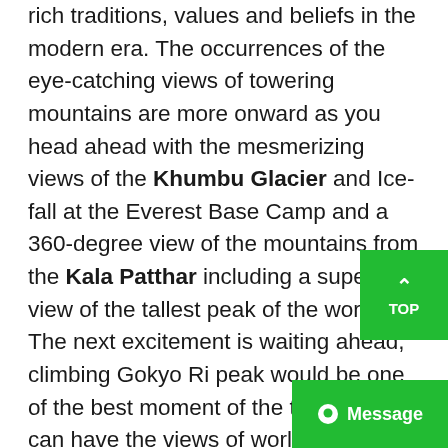rich traditions, values and beliefs in the modern era. The occurrences of the eye-catching views of towering mountains are more onward as you head ahead with the mesmerizing views of the Khumbu Glacier and Ice-fall at the Everest Base Camp and a 360-degree view of the mountains from the Kala Patthar including a superb view of the tallest peak of the world. The next excitement is waiting ahead, climbing Gokyo Ri peak would be one of the best moment of the trek as you can have the views of world tallest mountains. The trekking trails ends with passing through Renjo-La-Pass and Cho-La Pass back to Lukla and a short flight to Kathmandu.
The 19 days exploration begins from your arrival at Kathmandu and takes you to the